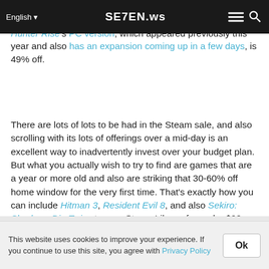English  SE7EN.ws
The magic, nonetheless, hinges on the center Cyberpunk 2077 is 50%, being available in at just $29.99. Monster Hunter Rise's PC version, which appeared previously this year and also has an expansion coming up in a few days, is 49% off.
There are lots of lots to be had in the Steam sale, and also scrolling with its lots of offerings over a mid-day is an excellent way to inadvertently invest over your budget plan. But what you actually wish to try to find are games that are a year or more old and also are striking that 30-60% off home window for the very first time. That's exactly how you can include Hitman 3, Resident Evil 8, and also Sekiro: Shadows Die Twice to your Steam Library for under $90.
This website uses cookies to improve your experience. If you continue to use this site, you agree with Privacy Policy